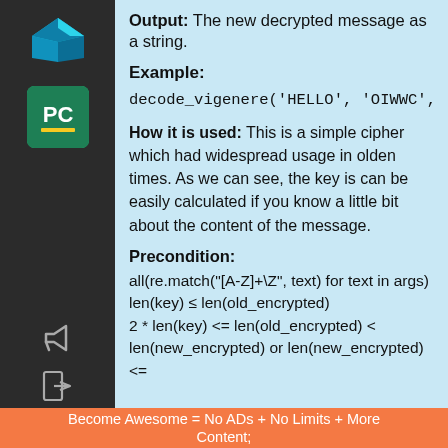Output: The new decrypted message as a string.
Example:
decode_vigenere('HELLO', 'OIWWC', 'ICP'
How it is used: This is a simple cipher which had widespread usage in olden times. As we can see, the key is can be easily calculated if you know a little bit about the content of the message.
Precondition:
all(re.match("[A-Z]+\Z", text) for text in args)
len(key) ≤ len(old_encrypted)
2 * len(key) <= len(old_encrypted) < len(new_encrypted) or len(new_encrypted) <=
Become Awesome = No ADs + No Limits + More Content;